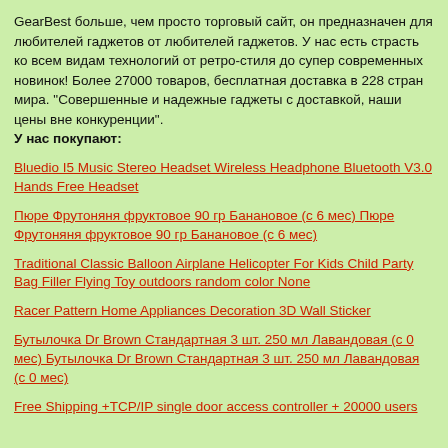GearBest больше, чем просто торговый сайт, он предназначен для любителей гаджетов от любителей гаджетов. У нас есть страсть ко всем видам технологий от ретро-стиля до супер современных новинок! Более 27000 товаров, бесплатная доставка в 228 стран мира. "Совершенные и надежные гаджеты с доставкой, наши цены вне конкуренции". У нас покупают:
Bluedio I5 Music Stereo Headset Wireless Headphone Bluetooth V3.0 Hands Free Headset
Пюре Фрутоняня фруктовое 90 гр Банановое (с 6 мес) Пюре Фрутоняня фруктовое 90 гр Банановое (с 6 мес)
Traditional Classic Balloon Airplane Helicopter For Kids Child Party Bag Filler Flying Toy outdoors random color None
Racer Pattern Home Appliances Decoration 3D Wall Sticker
Бутылочка Dr Brown Стандартная 3 шт. 250 мл Лавандовая (с 0 мес) Бутылочка Dr Brown Стандартная 3 шт. 250 мл Лавандовая (с 0 мес)
Free Shipping +TCP/IP single door access controller + 20000 users